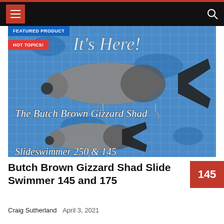Navigation bar with hamburger menu and search icon
[Figure (photo): Product photo of Butch Brown Gizzard Shad Slideswimmer fishing lures (250 and 145) shown against a blue water/tile background with italic script text reading 'It's Here!', 'The Butch Brown Gizzard Shad', and 'Slideswimmer 250 & 145'. Two fish-shaped lures are displayed, one large and one smaller.]
Butch Brown Gizzard Shad Slide Swimmer 145 and 175
Craig Sutherland  April 3, 2021